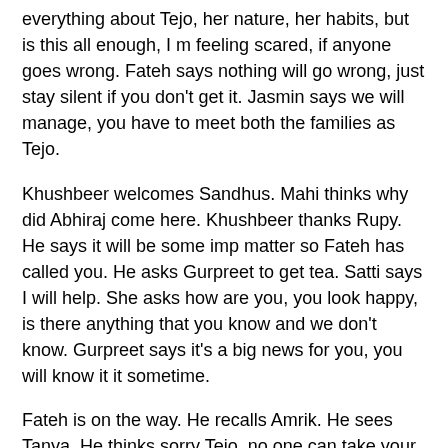everything about Tejo, her nature, her habits, but is this all enough, I m feeling scared, if anyone goes wrong. Fateh says nothing will go wrong, just stay silent if you don't get it. Jasmin says we will manage, you have to meet both the families as Tejo.
Khushbeer welcomes Sandhus. Mahi thinks why did Abhiraj come here. Khushbeer thanks Rupy. He says it will be some imp matter so Fateh has called you. He asks Gurpreet to get tea. Satti says I will help. She asks how are you, you look happy, is there anything that you know and we don't know. Gurpreet says it's a big news for you, you will know it it sometime.
Fateh is on the way. He recalls Amrik. He sees Tanya. He thinks sorry Tejo, no one can take your place but I m doing this for mummy. Jasmin asks Tanya to stay boring, Tejo was boring, stay silent when confused. Tanya says okay, I can...